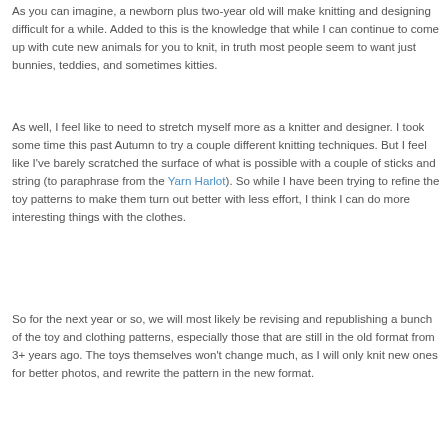As you can imagine, a newborn plus two-year old will make knitting and designing difficult for a while. Added to this is the knowledge that while I can continue to come up with cute new animals for you to knit, in truth most people seem to want just bunnies, teddies, and sometimes kitties.
As well, I feel like to need to stretch myself more as a knitter and designer. I took some time this past Autumn to try a couple different knitting techniques. But I feel like I've barely scratched the surface of what is possible with a couple of sticks and string (to paraphrase from the Yarn Harlot). So while I have been trying to refine the toy patterns to make them turn out better with less effort, I think I can do more interesting things with the clothes.
So for the next year or so, we will most likely be revising and republishing a bunch of the toy and clothing patterns, especially those that are still in the old format from 3+ years ago. The toys themselves won't change much, as I will only knit new ones for better photos, and rewrite the pattern in the new format.